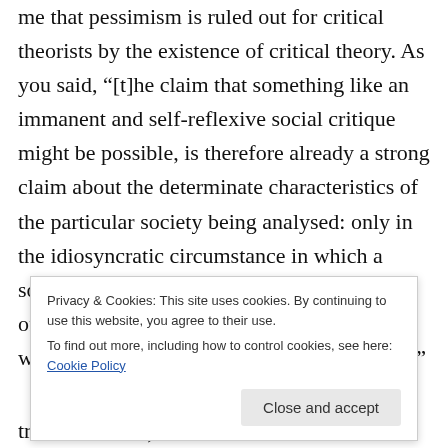me that pessimism is ruled out for critical theorists by the existence of critical theory. As you said, “[t]he claim that something like an immanent and self-reflexive social critique might be possible, is therefore already a strong claim about the determinate characteristics of the particular society being analysed: only in the idiosyncratic circumstance in which a socio-historical context generates some kind of systematic potential for transformation, would this model of critique make any sense.”
Privacy & Cookies: This site uses cookies. By continuing to use this website, you agree to their use.
To find out more, including how to control cookies, see here: Cookie Policy
transformation) of her existence as critical